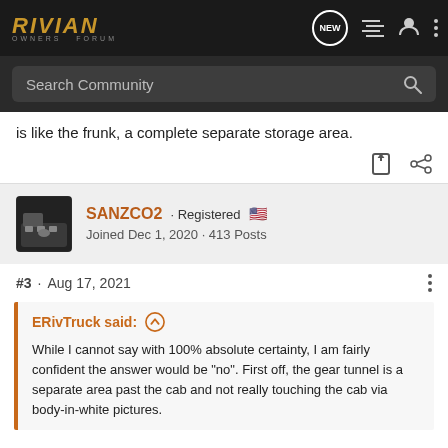RIVIAN OWNERS FORUM
Search Community
is like the frunk, a complete separate storage area.
SANZCO2 · Registered 🇺🇸
Joined Dec 1, 2020 · 413 Posts
#3 · Aug 17, 2021
ERivTruck said: ↑
While I cannot say with 100% absolute certainty, I am fairly confident the answer would be "no". First off, the gear tunnel is a separate area past the cab and not really touching the cab via body-in-white pictures.